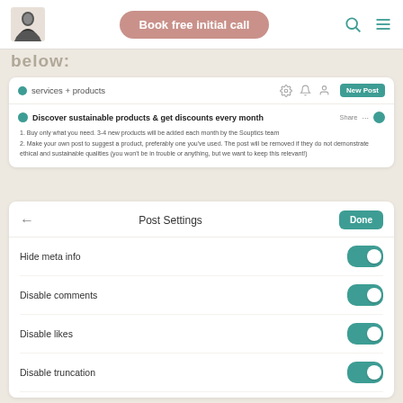Book free initial call
below:
services + products
Discover sustainable products & get discounts every month
1. Buy only what you need. 3-4 new products will be added each month by the Souptics team
2. Make your own post to suggest a product, preferably one you've used. The post will be removed if they do not demonstrate ethical and sustainable qualities (you won't be in trouble or anything, but we want to keep this relevant!)
Post Settings
Hide meta info
Disable comments
Disable likes
Disable truncation
Pin post to top
Pin post to sidebar